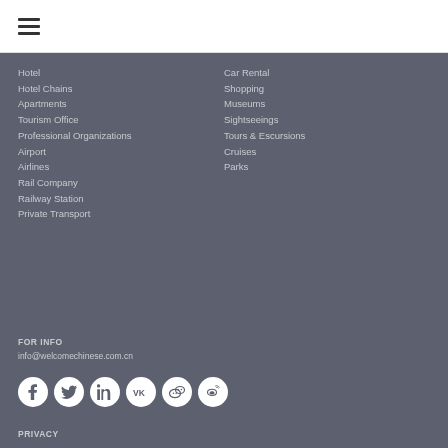[Figure (other): Hamburger menu icon (three horizontal lines)]
Hotel
Hotel Chains
Apartments
Tourism Office
Professional Organizations
Airport
Airlines
Rail Company
Railway Station
Private Transport
Car Rental
Shopping
Museums
Sightseeings
Tours & Escursions
Cruises
Parks
FOR INFO
info@welcomechinese.com.cn
[Figure (other): Social media icons: Facebook, Twitter, LinkedIn, VK, WeChat, Weibo]
PRIVACY